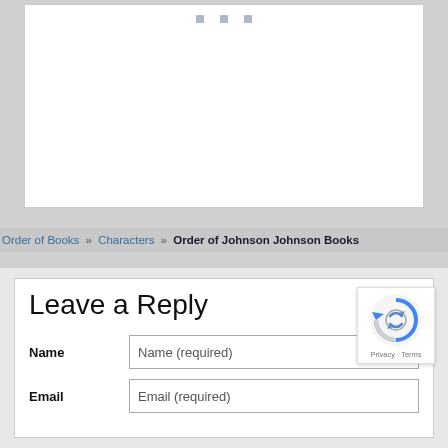[Figure (screenshot): White content box with three small grey dots at the top center, representing a loading or media placeholder]
Order of Books » Characters » Order of Johnson Johnson Books
Leave a Reply
[Figure (logo): reCAPTCHA badge with spinning arrows icon and Privacy · Terms links]
Name
Name (required)
Email
Email (required)